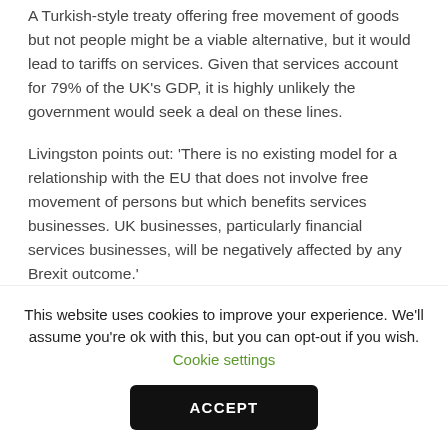A Turkish-style treaty offering free movement of goods but not people might be a viable alternative, but it would lead to tariffs on services. Given that services account for 79% of the UK's GDP, it is highly unlikely the government would seek a deal on these lines.
Livingston points out: 'There is no existing model for a relationship with the EU that does not involve free movement of persons but which benefits services businesses. UK businesses, particularly financial services businesses, will be negatively affected by any Brexit outcome.'
A further problem identified by Stephen Booth, co-director
This website uses cookies to improve your experience. We'll assume you're ok with this, but you can opt-out if you wish. Cookie settings ACCEPT